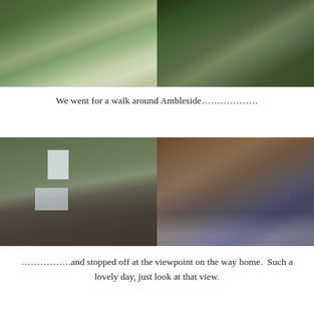[Figure (photo): Two photos at top: left shows a canal or millpond with wooden walkway/railing beside a stone building surrounded by trees; right shows a tree-shaded path or park area with benches and a building in the background]
We went for a walk around Ambleside………………
[Figure (photo): Two photos at bottom: left shows exterior of an old stone building (possibly a mill) with small windows; right shows interior of a mill with a large wooden water wheel and white metal railing]
…………….and stopped off at the viewpoint on the way home.  Such a lovely day, just look at that view.